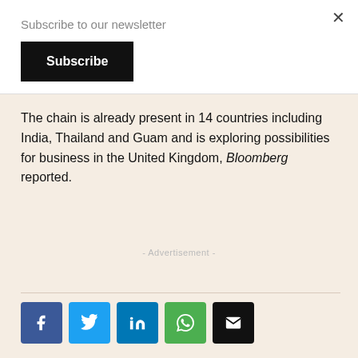Subscribe to our newsletter
Subscribe
The chain is already present in 14 countries including India, Thailand and Guam and is exploring possibilities for business in the United Kingdom, Bloomberg reported.
- Advertisement -